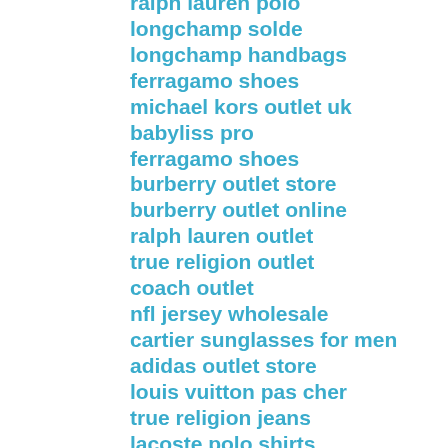ralph lauren polo
longchamp solde
longchamp handbags
ferragamo shoes
michael kors outlet uk
babyliss pro
ferragamo shoes
burberry outlet store
burberry outlet online
ralph lauren outlet
true religion outlet
coach outlet
nfl jersey wholesale
cartier sunglasses for men
adidas outlet store
louis vuitton pas cher
true religion jeans
lacoste polo shirts
toms outlet
true religion jeans
coach outlet
kate spade uk
ray ban sunglasses sale